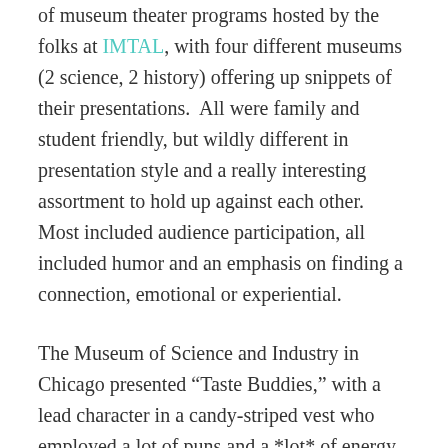of museum theater programs hosted by the folks at IMTAL, with four different museums (2 science, 2 history) offering up snippets of their presentations.  All were family and student friendly, but wildly different in presentation style and a really interesting assortment to hold up against each other.  Most included audience participation, all included humor and an emphasis on finding a connection, emotional or experiential.
The Museum of Science and Industry in Chicago presented “Taste Buddies,” with a lead character in a candy-striped vest who employed a lot of puns and a *lot* of energy, including audience volunteers who gamely ate unidentified jelly beans (you need to know me to understand just how brave that seemed to me, but it was definitely a Bertie Bott’s moment).  Fusion Science Theater worked up a bunch of excitement over